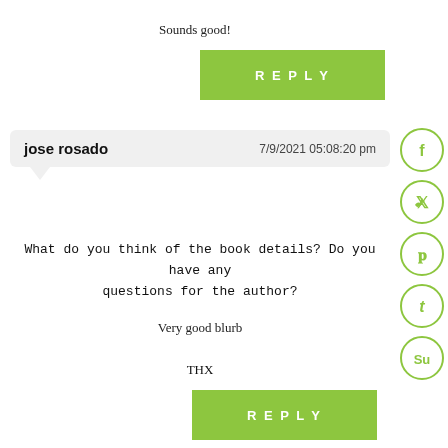Sounds good!
REPLY
jose rosado   7/9/2021 05:08:20 pm
What do you think of the book details? Do you have any questions for the author?
Very good blurb
THX
REPLY